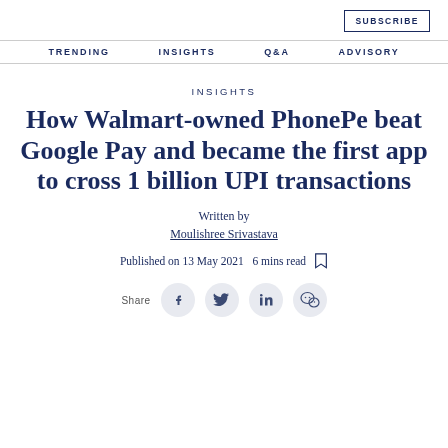SUBSCRIBE
TRENDING   INSIGHTS   Q&A   ADVISORY
INSIGHTS
How Walmart-owned PhonePe beat Google Pay and became the first app to cross 1 billion UPI transactions
Written by
Moulishree Srivastava
Published on 13 May 2021  6 mins read
Share